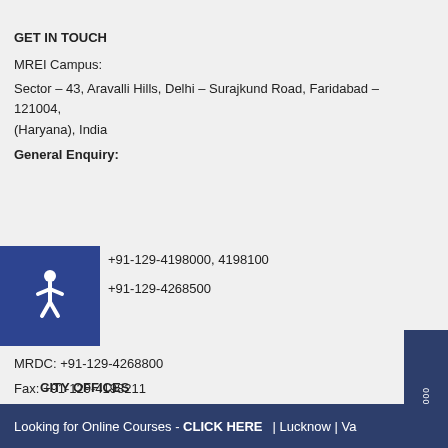GET IN TOUCH
MREI Campus:
Sector – 43, Aravalli Hills, Delhi – Surajkund Road, Faridabad – 121004, (Haryana), India
General Enquiry:
[Figure (illustration): Blue square with wheelchair accessibility icon]
+91-129-4198000, 4198100
+91-129-4268500
MRDC: +91-129-4268800
Fax: +91-129-4198211
Email:
admissions@manavrachna.edu.in
CITY OFFICES
Looking for Online Courses - CLICK HERE | Lucknow | Va...